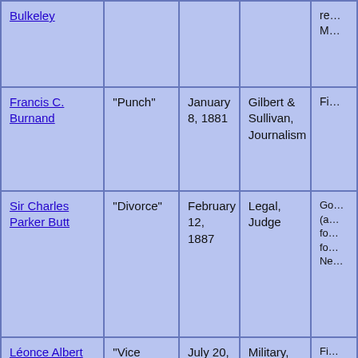| Name | Work | Date | Category | Notes |
| --- | --- | --- | --- | --- |
| Bulkeley |  |  |  | re… M… |
| Francis C. Burnand | "Punch" | January 8, 1881 | Gilbert & Sullivan, Journalism | Fi… |
| Sir Charles Parker Butt | "Divorce" | February 12, 1887 | Legal, Judge | Go… (a… fo… fo… Ne… |
| Léonce Albert Caillard | "Vice Admiral Caillard" | July 20, 1905 | Military, Naval; French Admiral; French delegation, Entente cordialle | Fi… bi… to… ta… re… |
| Sir Thomas Henry Hall Cai… | "The Manxman" | July 2, 1896 | Literary | Ne… Ec… ba… cr… |